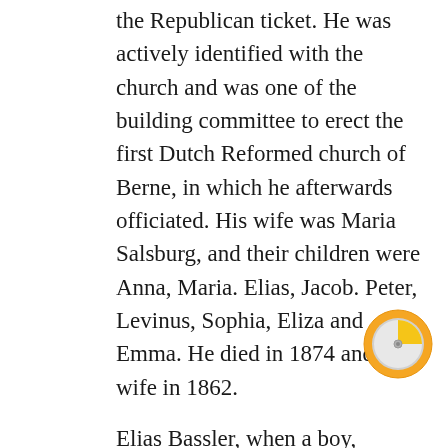the Republican ticket. He was actively identified with the church and was one of the building committee to erect the first Dutch Reformed church of Berne, in which he afterwards officiated. His wife was Maria Salsburg, and their children were Anna, Maria. Elias, Jacob. Peter, Levinus, Sophia, Eliza and Emma. He died in 1874 and his wife in 1862.
Elias Bassler, when a boy, attended the common district schools. He remained on the farm until thirty-nine years af age, when he came into possession of his present farm of 130 acres, through the assistance of his father, and on this farm he has ever since resided, doing general farming. In politics Mr. Bassler is a Republican, and while feeling a keen interest in the welfare of his party, he has never sought political honors. In 1842 he married Eva, daughter of Jacob Sand of
[Figure (other): A circular icon with an orange/yellow outer ring and a grey/white inner circle, resembling a timer or clock icon with a yellow quarter segment.]